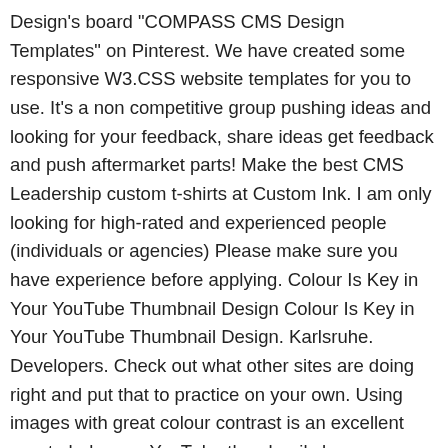Design's board "COMPASS CMS Design Templates" on Pinterest. We have created some responsive W3.CSS website templates for you to use. It's a non competitive group pushing ideas and looking for your feedback, share ideas get feedback and push aftermarket parts! Make the best CMS Leadership custom t-shirts at Custom Ink. I am only looking for high-rated and experienced people (individuals or agencies) Please make sure you have experience before applying. Colour Is Key in Your YouTube Thumbnail Design Colour Is Key in Your YouTube Thumbnail Design. Karlsruhe. Developers. Check out what other sites are doing right and put that to practice on your own. Using images with great colour contrast is an excellent way to help your YouTube thumbnails be eye-catching. You should first understand what a CMS is. A federal government website managed and paid for by the U.S. Centers for Medicare & Medicaid Services. The Cognitio theme is the most user-friendly theme on this list ... Website Design & Anything Goes Projects for $3000 - $5000. If you'd like to see us expand this article with more information, implementation